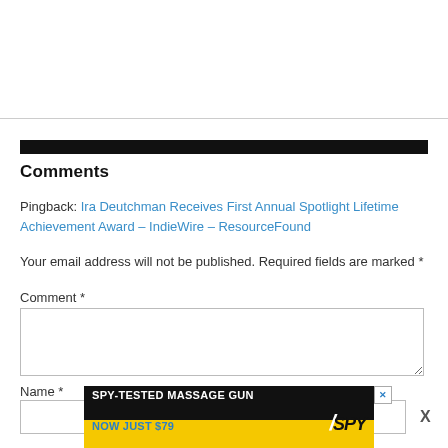Comments
Pingback: Ira Deutchman Receives First Annual Spotlight Lifetime Achievement Award – IndieWire – ResourceFound
Your email address will not be published. Required fields are marked *
Comment *
Name *
[Figure (infographic): Advertisement banner: SPY-TESTED MASSAGE GUN NOW JUST $79 with SPY logo on yellow background]